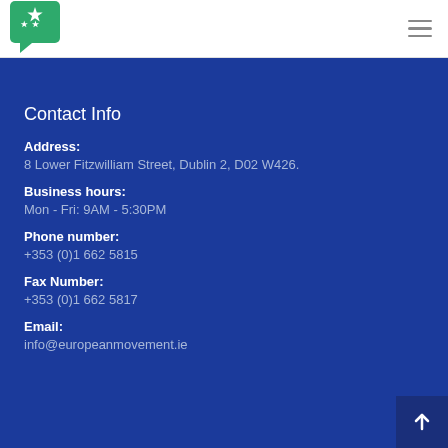[Figure (logo): European Movement Ireland logo: green speech bubble with white stars]
Contact Us
Contact Info
Address:
8 Lower Fitzwilliam Street, Dublin 2, D02 W426.
Business hours:
Mon - Fri: 9AM - 5:30PM
Phone number:
+353 (0)1 662 5815
Fax Number:
+353 (0)1 662 5817
Email:
info@europeanmovement.ie